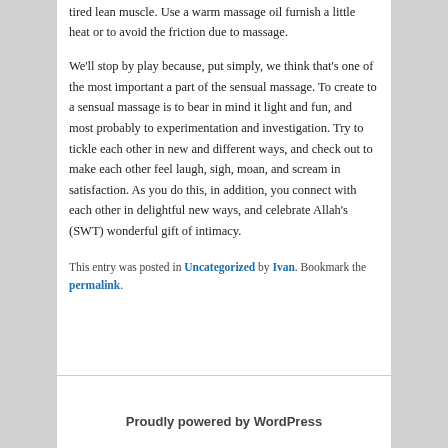tired lean muscle. Use a warm massage oil furnish a little heat or to avoid the friction due to massage.
We'll stop by play because, put simply, we think that's one of the most important a part of the sensual massage. To create to a sensual massage is to bear in mind it light and fun, and most probably to experimentation and investigation. Try to tickle each other in new and different ways, and check out to make each other feel laugh, sigh, moan, and scream in satisfaction. As you do this, in addition, you connect with each other in delightful new ways, and celebrate Allah's (SWT) wonderful gift of intimacy.
This entry was posted in Uncategorized by Ivan. Bookmark the permalink.
Proudly powered by WordPress